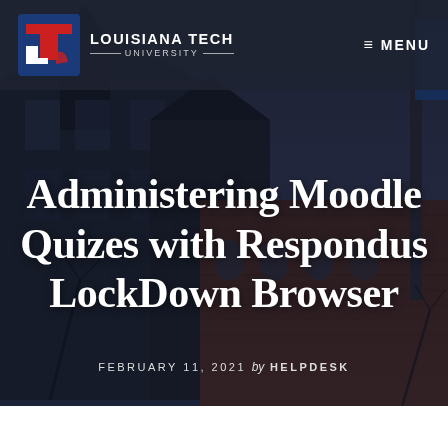[Figure (photo): Aerial/street-level view of Louisiana Tech University campus buildings, brick architecture with dark sky, overlaid with dark semi-transparent tint]
LOUISIANA TECH UNIVERSITY  ≡ MENU
Administering Moodle Quizes with Respondus LockDown Browser
FEBRUARY 11, 2021 by HELPDESK